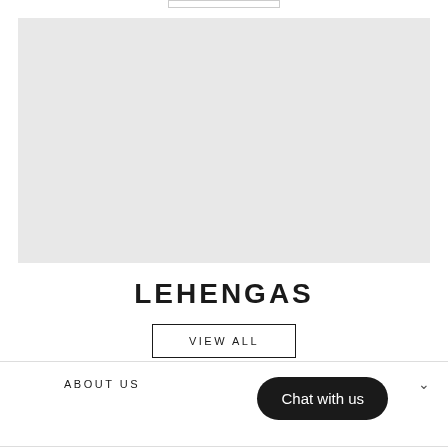[Figure (other): Light gray rectangular image placeholder area]
LEHENGAS
VIEW ALL
ABOUT US
Chat with us